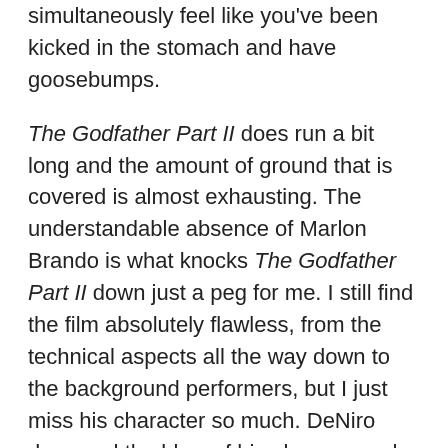simultaneously feel like you've been kicked in the stomach and have goosebumps.
The Godfather Part II does run a bit long and the amount of ground that is covered is almost exhausting. The understandable absence of Marlon Brando is what knocks The Godfather Part II down just a peg for me. I still find the film absolutely flawless, from the technical aspects all the way down to the background performers, but I just miss his character so much. DeNiro does pad the blow of his absence and he gives one of the finest performances of his career. I do favor this installment's darker tone over the originals and the original is a pretty gloomy film to begin with. Given the length, Coppola does divvy up the action expertly and never allows the film sag, making the film incredibly consistent. Much like The Godfather, The